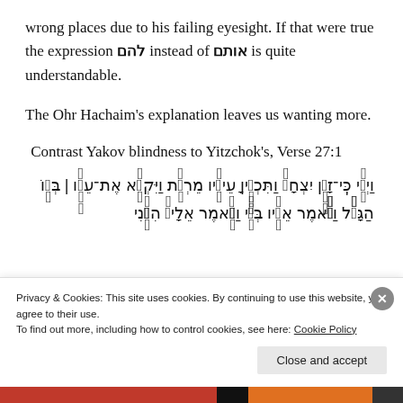wrong places due to his failing eyesight. If that were true the expression להם instead of אותם is quite understandable.
The Ohr Hachaim's explanation leaves us wanting more.
Contrast Yakov blindness to Yitzchok's, Verse 27:1
[Figure (other): Hebrew verse text from Genesis 27:1 in Hebrew script with cantillation marks]
Privacy & Cookies: This site uses cookies. By continuing to use this website, you agree to their use. To find out more, including how to control cookies, see here: Cookie Policy
Close and accept